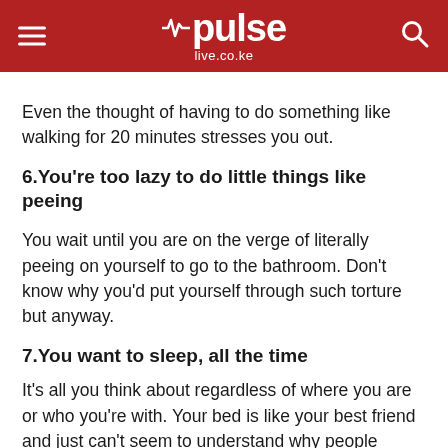pulse live.co.ke
Even the thought of having to do something like walking for 20 minutes stresses you out.
6.You're too lazy to do little things like peeing
You wait until you are on the verge of literally peeing on yourself to go to the bathroom. Don't know why you'd put yourself through such torture but anyway.
7.You want to sleep, all the time
It's all you think about regardless of where you are or who you're with. Your bed is like your best friend and just can't seem to understand why people would want to go out and